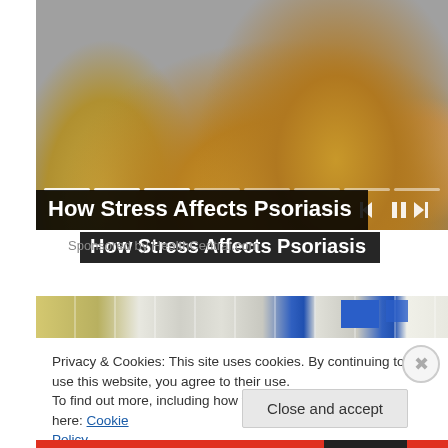[Figure (photo): Person in yellow/mustard knit sweater sitting on a gray sofa, arms crossed or holding wrist, suggesting psoriasis-related discomfort. Video player with progress bar segments and playback controls (previous, pause, next) visible at bottom right.]
How Stress Affects Psoriasis
Sponsored by HealthCentral.com
[Figure (photo): Interior of a store/pharmacy with shelves, fluorescent lighting, and blue product displays.]
Privacy & Cookies: This site uses cookies. By continuing to use this website, you agree to their use.
To find out more, including how to control cookies, see here: Cookie Policy
Close and accept